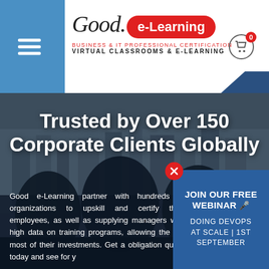[Figure (screenshot): Good e-Learning website header with blue sidebar, hamburger menu, logo, and shopping cart with 0 items badge]
[Figure (photo): Corporate conference room with black leather chairs and city skyline background, used as hero banner image for Good e-Learning website]
Trusted by Over 150 Corporate Clients Globally
Good e-Learning partner with hundreds of organizations to upskill and certify their employees, as well as supplying managers with high data on training programs, allowing the most of their investments. Get a obligation quote today and see for y
JOIN OUR FREE WEBINAR 🎤 DOING DEVOPS AT SCALE | 1ST SEPTEMBER